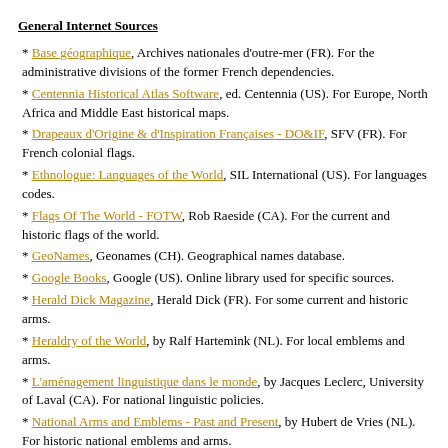General Internet Sources
* Base géographique, Archives nationales d'outre-mer (FR). For the administrative divisions of the former French dependencies.
* Centennia Historical Atlas Software, ed. Centennia (US). For Europe, North Africa and Middle East historical maps.
* Drapeaux d'Origine & d'Inspiration Françaises - DO&IF, SFV (FR). For French colonial flags.
* Ethnologue: Languages of the World, SIL International (US). For languages codes.
* Flags Of The World - FOTW, Rob Raeside (CA). For the current and historic flags of the world.
* GeoNames, Geonames (CH). Geographical names database.
* Google Books, Google (US). Online library used for specific sources.
* Herald Dick Magazine, Herald Dick (FR). For some current and historic arms.
* Heraldry of the World, by Ralf Hartemink (NL). For local emblems and arms.
* L'aménagement linguistique dans le monde, by Jacques Leclerc, University of Laval (CA). For national linguistic policies.
* National Arms and Emblems - Past and Present, by Hubert de Vries (NL). For historic national emblems and arms.
* Numismondo - World Printed Money Picture Catalog, by Garry Saint, Esquire (US). For national currencies.
* Omniatlas - Interactive atlas of World History, by Rick Westera (NZ). For some